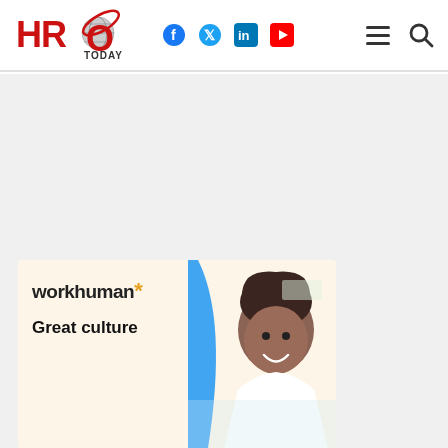HRO Today — navigation header with logo, social icons (Facebook, Twitter, LinkedIn, YouTube), hamburger menu, and search
[Figure (photo): Large light gray content area (advertisement placeholder / empty space)]
[Figure (infographic): Workhuman advertisement banner with cream background, workhuman. logo with gold asterisk, headline 'Great culture' and photo of a smiling woman with locs in an office setting]